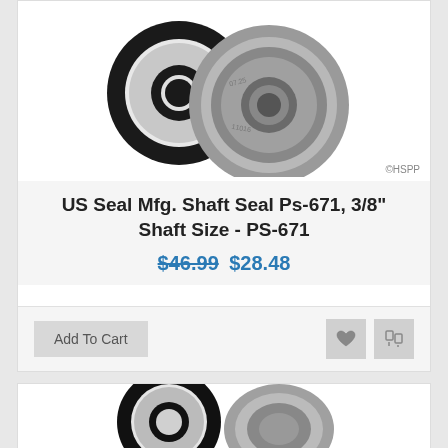[Figure (photo): Photo of US Seal Mfg shaft seal PS-671, showing two components: a black rubber seal ring and a metal bearing/seal, with ©HSPP watermark]
US Seal Mfg. Shaft Seal Ps-671, 3/8" Shaft Size - PS-671
$46.99 $28.48
[Figure (photo): Partial photo of another shaft seal product showing black rubber seal ring and metal bearing component]